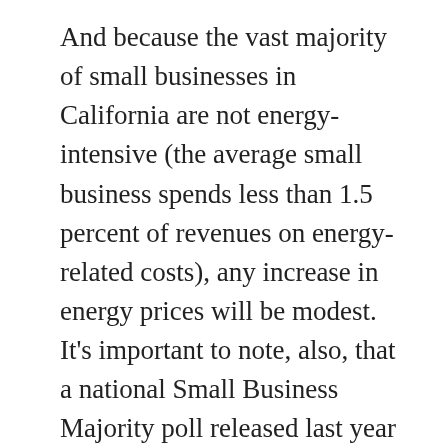And because the vast majority of small businesses in California are not energy-intensive (the average small business spends less than 1.5 percent of revenues on energy-related costs), any increase in energy prices will be modest. It's important to note, also, that a national Small Business Majority poll released last year found 56 percent of small business owners support the regulation of greenhouse gas emissions, even if it means a possible increase in utility